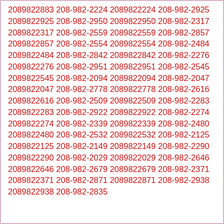2089822883 208-982-2224 2089822224 208-982-2925 2089822925 208-982-2950 2089822950 208-982-2317 2089822317 208-982-2559 2089822559 208-982-2857 2089822857 208-982-2554 2089822554 208-982-2484 2089822484 208-982-2842 2089822842 208-982-2276 2089822276 208-982-2951 2089822951 208-982-2545 2089822545 208-982-2094 2089822094 208-982-2047 2089822047 208-982-2778 2089822778 208-982-2616 2089822616 208-982-2509 2089822509 208-982-2283 2089822283 208-982-2922 2089822922 208-982-2274 2089822274 208-982-2339 2089822339 208-982-2480 2089822480 208-982-2532 2089822532 208-982-2125 2089822125 208-982-2149 2089822149 208-982-2290 2089822290 208-982-2029 2089822029 208-982-2646 2089822646 208-982-2679 2089822679 208-982-2371 2089822371 208-982-2871 2089822871 208-982-2938 2089822938 208-982-2835